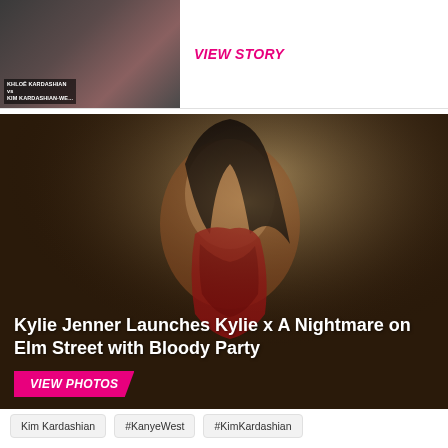[Figure (photo): Top card with photo of Kardashian sisters and TV show graphic, with label 'KHLOÉ KARDASHIAN vs KIM KARDASHIAN-WEST']
VIEW STORY
[Figure (photo): Kylie Jenner posed covered in simulated blood for Kylie x A Nightmare on Elm Street launch, dark dramatic lighting]
Kylie Jenner Launches Kylie x A Nightmare on Elm Street with Bloody Party
VIEW PHOTOS
Kim Kardashian
#KanyeWest
#KimKardashian